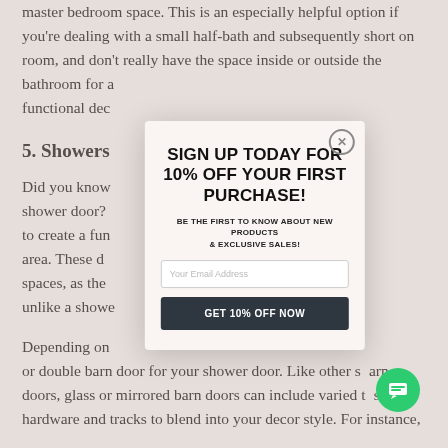master bedroom space. This is an especially helpful option if you're dealing with a small half-bath and subsequently short on room, and don't really have the space inside or outside the bathroom for a functional dec
5. Showers
Did you know shower door? to create a fu area. These d spaces, as the unlike a showe
Depending on or double barn door for your shower door. Like other s arn doors, glass or mirrored barn doors can include varied t s of hardware and tracks to blend into your decor style. For instance,
[Figure (infographic): Modal popup overlay with sign-up promotion: 'SIGN UP TODAY FOR 10% OFF YOUR FIRST PURCHASE!' with subtitle 'BE THE FIRST TO KNOW ABOUT NEW PRODUCTS & EXCLUSIVE SALES!', an email input field, and a 'GET 10% OFF NOW' button. Has a close (X) button in top right corner.]